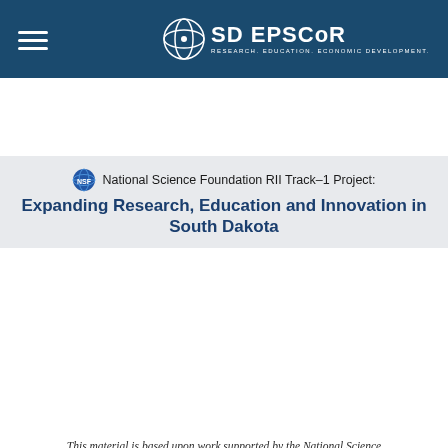SD EPSCoR — RESEARCH. EDUCATION. ECONOMIC DEVELOPMENT.
National Science Foundation RII Track-1 Project: Expanding Research, Education and Innovation in South Dakota
This material is based upon work supported by the National Science Foundation/EPSCoR Award OIA-1849206 and by the South Dakota Board of Regents. Any opinions, findings, and conclusions or recommendations expressed in this material are those of the author(s) and do not necessarily reflect the views of the National Science Foundation.
©2022 SD EPSCoR, Inc. All rights reserved. Privacy Policy Government website design and programming provided by Insight Marketing Design